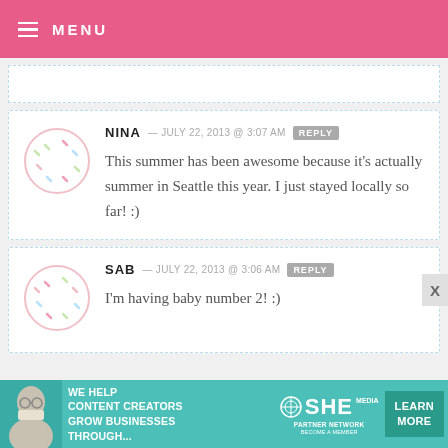MENU
NINA — JULY 22, 2013 @ 3:07 AM  REPLY
This summer has been awesome because it's actually summer in Seattle this year. I just stayed locally so far! :)
SAB — JULY 22, 2013 @ 3:06 AM  REPLY
I'm having baby number 2! :)
[Figure (infographic): Advertisement banner: WE HELP CONTENT CREATORS GROW BUSINESSES THROUGH... SHE PARTNER NETWORK BECOME A MEMBER — LEARN MORE]